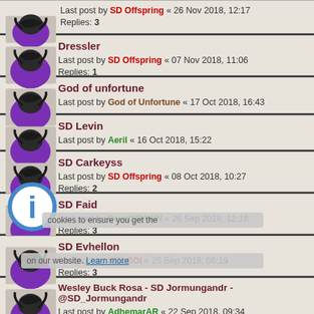Last post by SD Offspring « 26 Nov 2018, 12:17 | Replies: 3
Dressler | Last post by SD Offspring « 07 Nov 2018, 11:06 | Replies: 1
God of unfortune | Last post by God of Unfortune « 17 Oct 2018, 16:43
SD Levin | Last post by Aeril « 16 Oct 2018, 15:22
SD Carkeyss | Last post by SD Offspring « 08 Oct 2018, 10:27 | Replies: 2
SD Faid | Last post by DruidSPAWN « 26 Sep 2018, 12:18 | Replies: 3
SD Evhellon | Last post by KOLODI « 25 Sep 2018, 06:19 | Replies: 3
Wesley Buck Rosa - SD Jormungandr - @SD_Jormungandr | Last post by AdhemarAR « 22 Sep 2018, 09:34
OldManQuake | Last post by OldManQuake « 22 Sep 2018, 09:31